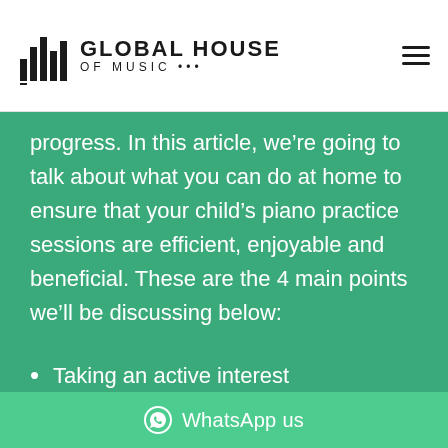GLOBAL HOUSE OF MUSIC
progress. In this article, we're going to talk about what you can do at home to ensure that your child's piano practice sessions are efficient, enjoyable and beneficial. These are the 4 main points we'll be discussing below:
Taking an active interest
WhatsApp us